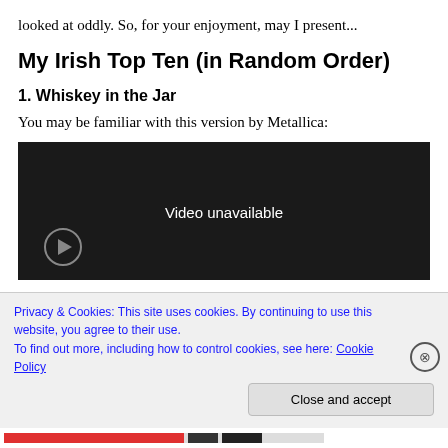looked at oddly. So, for your enjoyment, may I present...
My Irish Top Ten (in Random Order)
1. Whiskey in the Jar
You may be familiar with this version by Metallica:
[Figure (screenshot): Embedded video player showing 'Video unavailable' message on dark background]
Privacy & Cookies: This site uses cookies. By continuing to use this website, you agree to their use.
To find out more, including how to control cookies, see here: Cookie Policy